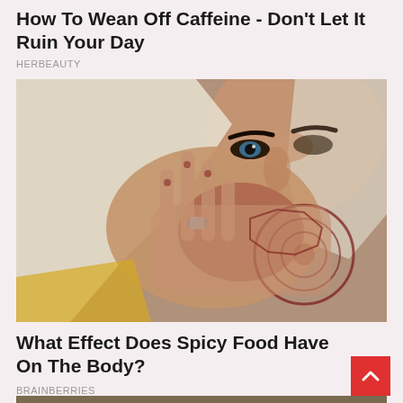How To Wean Off Caffeine - Don't Let It Ruin Your Day
HERBEAUTY
[Figure (photo): Woman wearing white hijab covering her face with a hand decorated with intricate henna (mehndi) patterns and a ring]
What Effect Does Spicy Food Have On The Body?
BRAINBERRIES
[Figure (photo): Partial view of a person in an indoor setting, cropped at bottom of page]